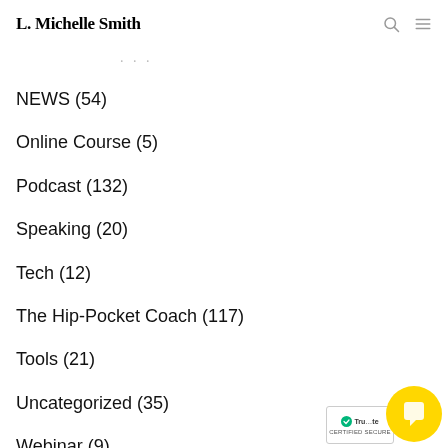L. Michelle Smith
NEWS (54)
Online Course (5)
Podcast (132)
Speaking (20)
Tech (12)
The Hip-Pocket Coach (117)
Tools (21)
Uncategorized (35)
Webinar (9)
Women (38)
[Figure (logo): TrustMate Certified Secure badge with green checkmark and yellow chat button overlay]